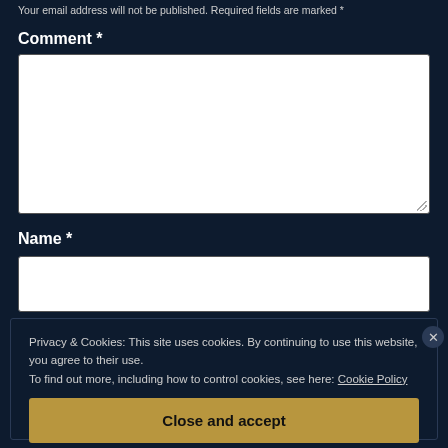Your email address will not be published. Required fields are marked *
Comment *
[Figure (screenshot): Empty comment text area input field with white background and resize handle]
Name *
[Figure (screenshot): Empty name text input field with white background]
Privacy & Cookies: This site uses cookies. By continuing to use this website, you agree to their use.
To find out more, including how to control cookies, see here: Cookie Policy
Close and accept